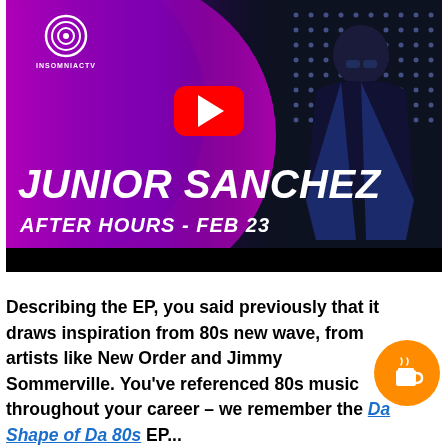[Figure (screenshot): YouTube video thumbnail for Junior Sanchez - After Hours Feb 23, featuring InsomniacTV branding, a red YouTube play button, the DJ performing in the background with LED lights, and white bold italic text reading JUNIOR SANCHEZ / AFTER HOURS - FEB 23 on a purple-to-dark background.]
Describing the EP, you said previously that it draws inspiration from 80s new wave, from artists like New Order and Jimmy Sommerville. You've referenced 80s music throughout your career – we remember the Da Shape of Da 80s EP...